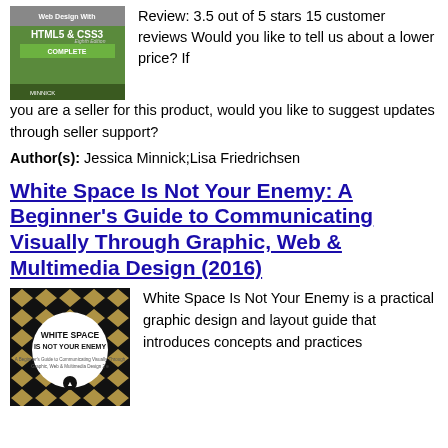[Figure (illustration): Book cover for Web Design With HTML5 & CSS3 Complete Eighth Edition by Minnick, green cover]
Review: 3.5 out of 5 stars 15 customer reviews Would you like to tell us about a lower price? If you are a seller for this product, would you like to suggest updates through seller support?
Author(s): Jessica Minnick;Lisa Friedrichsen
White Space Is Not Your Enemy: A Beginner's Guide to Communicating Visually Through Graphic, Web & Multimedia Design (2016)
[Figure (illustration): Book cover for White Space Is Not Your Enemy, black and white geometric pattern with gold diamond shapes, circle in center with title text]
White Space Is Not Your Enemy is a practical graphic design and layout guide that introduces concepts and practices